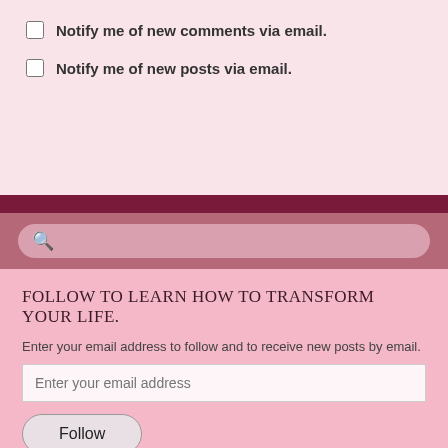Notify me of new comments via email.
Notify me of new posts via email.
[Figure (other): Search bar with magnifying glass icon on pink/rose background]
FOLLOW TO LEARN HOW TO TRANSFORM YOUR LIFE.
Enter your email address to follow and to receive new posts by email.
Enter your email address
Follow
Join 1,327 other followers
CONNECT ON FACEBOOK